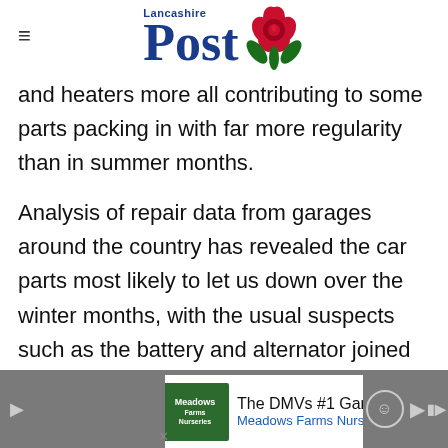Lancashire Post
and heaters more all contributing to some parts packing in with far more regularity than in summer months.
Analysis of repair data from garages around the country has revealed the car parts most likely to let us down over the winter months, with the usual suspects such as the battery and alternator joined by suspension components and glass.
[Figure (other): Advertisement banner: The DMVs #1 Garden Centre - Meadows Farms Nurseries and Landsca (truncated), with green logo and blue diamond arrow icon]